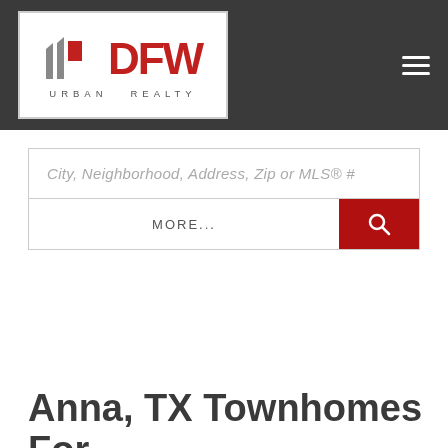[Figure (logo): DFW Urban Realty logo with stylized building/flag icons in red and gray, bold red DFW text, and URBAN REALTY subtitle in gray]
City, Neighborhood, Address, Zip or MLS® #
MORE...
Home / Anna / Anna Townhomes
Anna, TX Townhomes For Sale